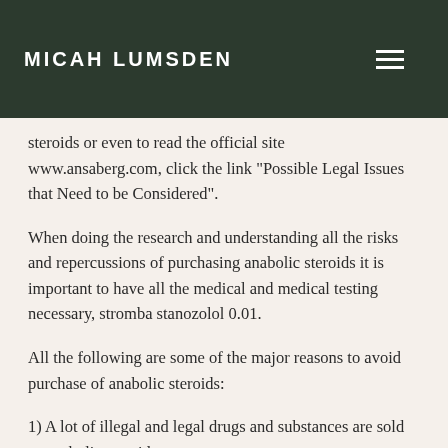MICAH LUMSDEN
steroids or even to read the official site www.ansaberg.com, click the link "Possible Legal Issues that Need to be Considered".
When doing the research and understanding all the risks and repercussions of purchasing anabolic steroids it is important to have all the medical and medical testing necessary, stromba stanozolol 0.01.
All the following are some of the major reasons to avoid purchase of anabolic steroids:
1) A lot of illegal and legal drugs and substances are sold as anabolic steroids.
Even though they are illegal, there are lots of